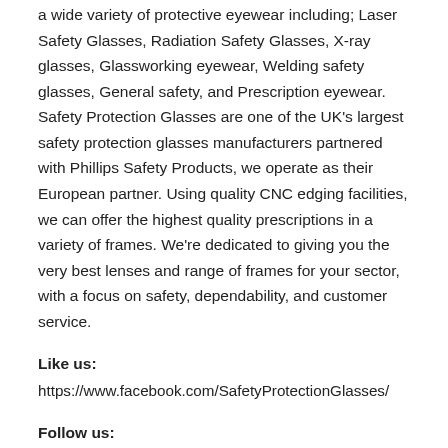a wide variety of protective eyewear including; Laser Safety Glasses, Radiation Safety Glasses, X-ray glasses, Glassworking eyewear, Welding safety glasses, General safety, and Prescription eyewear. Safety Protection Glasses are one of the UK's largest safety protection glasses manufacturers partnered with Phillips Safety Products, we operate as their European partner. Using quality CNC edging facilities, we can offer the highest quality prescriptions in a variety of frames. We're dedicated to giving you the very best lenses and range of frames for your sector, with a focus on safety, dependability, and customer service.
Like us:
https://www.facebook.com/SafetyProtectionGlasses/
Follow us:
https://www.instagram.com/safetyprotectionglasses/ and